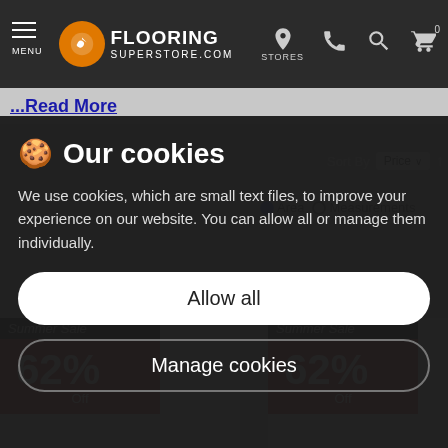MENU  FLOORING SUPERSTORE.COM  STORES
...Read More
🍪 Our cookies
We use cookies, which are small text files, to improve your experience on our website. You can allow all or manage them individually.
Allow all
Manage cookies
Summer Sale 62% Off
Summer Sale 62% Off